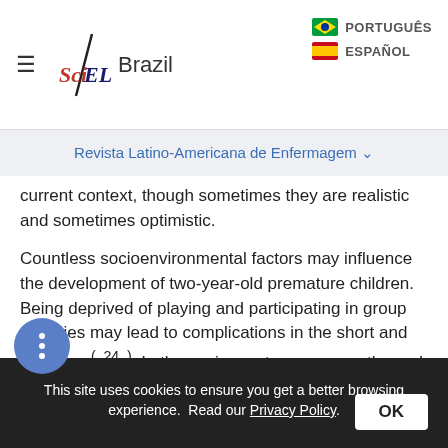SciELO Brazil | PORTUGUÊS | ESPAÑOL
Revista Latino-Americana de Enfermagem
current context, though sometimes they are realistic and sometimes optimistic.

Countless socioenvironmental factors may influence the development of two-year-old premature children. Being deprived of playing and participating in group activities may lead to complications in the short and long term( 24 ). In these circumstances, empathy and child-parent interactions are vital to promoting child development, such as watching a cartoon together, reading books, and playing together, adapting to the…
This site uses cookies to ensure you get a better browsing experience. Read our Privacy Policy. OK